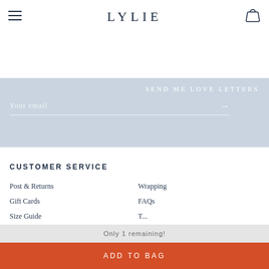LYLIE
SEND ME LOVE LETTERS
Your email
CUSTOMER SERVICE
Post & Returns
Wrapping
Gift Cards
FAQs
Only 1 remaining!
ADD TO BAG